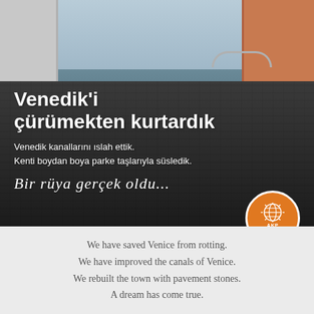[Figure (photo): A cobblestone street in Venice, Italy, with historic buildings on either side and a bridge visible in the background. The image is overlaid with Turkish text. An AKP Global orange circular logo badge is in the lower right corner.]
Venedik'i çürümekten kurtardık
Venedik kanallarını ıslah ettik. Kenti boydan boya parke taşlarıyla süsledik.
Bir rüya gerçek oldu...
We have saved Venice from rotting.
We have improved the canals of Venice.
We rebuilt the town with pavement stones.
A dream has come true.